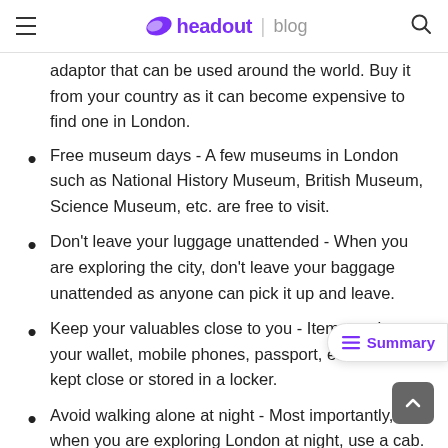headout | blog
adaptor that can be used around the world. Buy it from your country as it can become expensive to find one in London.
Free museum days - A few museums in London such as National History Museum, British Museum, Science Museum, etc. are free to visit.
Don't leave your luggage unattended - When you are exploring the city, don't leave your baggage unattended as anyone can pick it up and leave.
Keep your valuables close to you - Items such as your wallet, mobile phones, passport, etc. should be kept close or stored in a locker.
Avoid walking alone at night - Most importantly, when you are exploring London at night, use a cab.